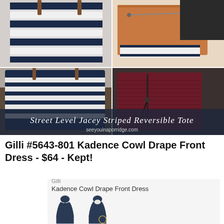[Figure (photo): Collage of Street Level Jacey Striped Reversible Tote: top-left shows striped navy/white tote bag, top-right shows tan leather clutch/bag, bottom-right shows dark burgundy leather clutch with zipper, bottom-left shows close-up of navy/white striped tote. Text overlay reads 'Street Level Jacey Striped Reversible Tote' and 'seeyouinaporridge.com']
Gilli #5643-801 Kadence Cowl Drape Front Dress - $64 - Kept!
[Figure (photo): Product card showing Gilli brand Kadence Cowl Drape Front Dress with two dress silhouettes in dark navy/black]